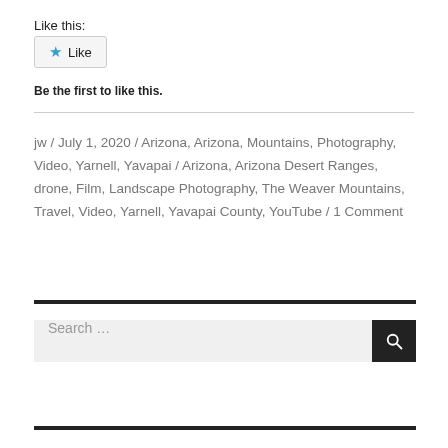Like this:
★ Like
Be the first to like this.
jw / July 1, 2020 / Arizona, Arizona, Mountains, Photography, Video, Yarnell, Yavapai / Arizona, Arizona Desert Ranges, drone, Film, Landscape Photography, The Weaver Mountains, Travel, Video, Yarnell, Yavapai County, YouTube / 1 Comment